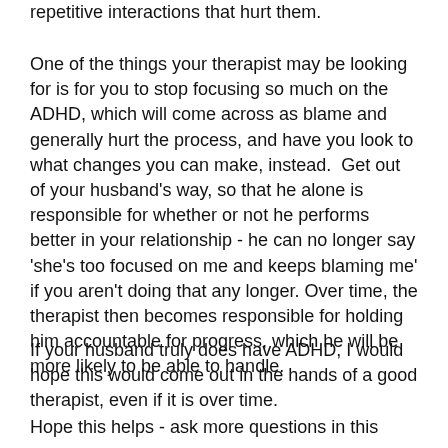repetitive interactions that hurt them.
One of the things your therapist may be looking for is for you to stop focusing so much on the ADHD, which will come across as blame and generally hurt the process, and have you look to what changes you can make, instead.  Get out of your husband's way, so that he alone is responsible for whether or not he performs better in your relationship - he can no longer say 'she's too focused on me and keeps blaming me' if you aren't doing that any longer. Over time, the therapist then becomes responsible for holding him accountable for progress, which he will be more likely to be able to handle.
If your husband truly does have ADHD, I would hope this would come out in the hands of a good therapist, even if it is over time.
Hope this helps - ask more questions in this